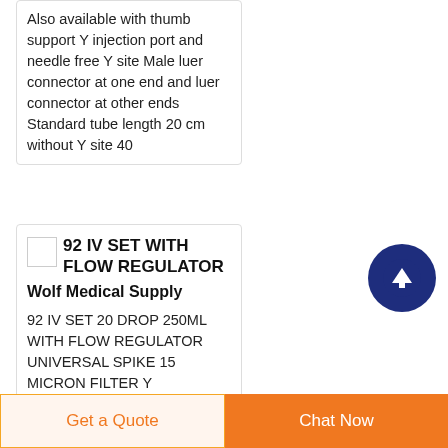Also available with thumb support Y injection port and needle free Y site Male luer connector at one end and luer connector at other ends Standard tube length 20 cm without Y site 40
[Figure (other): Small product thumbnail image placeholder]
92 IV SET WITH FLOW REGULATOR
Wolf Medical Supply
92 IV SET 20 DROP 250ML WITH FLOW REGULATOR UNIVERSAL SPIKE 15 MICRON FILTER Y
[Figure (other): Scroll to top button — dark blue circle with white upward arrow]
Get a Quote | Chat Now